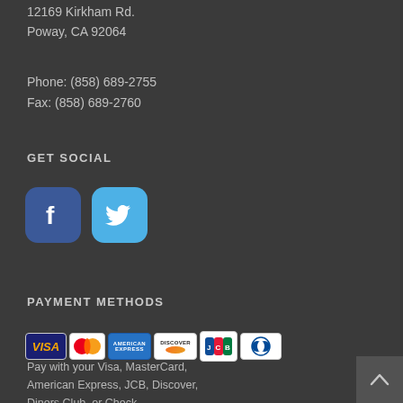12169 Kirkham Rd.
Poway, CA 92064
Phone: (858) 689-2755
Fax: (858) 689-2760
GET SOCIAL
[Figure (logo): Facebook and Twitter social media icons (rounded square buttons)]
PAYMENT METHODS
[Figure (logo): Payment method logos: Visa, MasterCard, American Express, Discover, JCB, Diners Club]
Pay with your Visa, MasterCard, American Express, JCB, Discover, Diners Club, or Check.